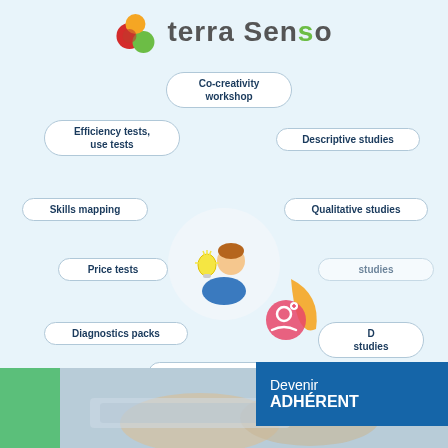[Figure (logo): Terra Senso logo with colorful circular icon (red, green, orange circles) and text 'terra Senso' in dark gray]
[Figure (infographic): Mind-map style infographic centered on a person with lightbulb icon surrounded by pill-shaped labels: Co-creativity workshop, Descriptive studies, Qualitative studies, Longitudinal studies, Online surveys, Diagnostics packs, Price tests, Skills mapping, Efficiency tests use tests. A pink/orange shape and membership icon overlay the center figure. Blue banner reads 'Devenir ADHÉRENT'.]
[Figure (photo): Bottom strip showing hands on keyboard/tablet, partially obscured, with green and blue-gray accent on left.]